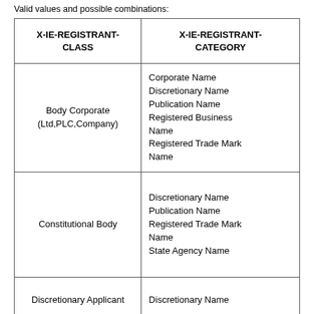Valid values and possible combinations:
| X-IE-REGISTRANT-CLASS | X-IE-REGISTRANT-CATEGORY |
| --- | --- |
| Body Corporate (Ltd,PLC,Company) | Corporate Name
Discretionary Name
Publication Name
Registered Business Name
Registered Trade Mark Name |
| Constitutional Body | Discretionary Name
Publication Name
Registered Trade Mark Name
State Agency Name |
| Discretionary Applicant | Discretionary Name |
|  | Discretionary Name |